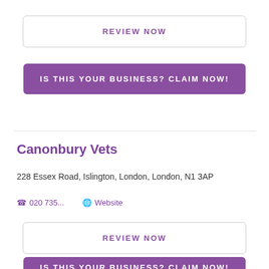REVIEW NOW
IS THIS YOUR BUSINESS? CLAIM NOW!
Canonbury Vets
228 Essex Road, Islington, London, London, N1 3AP
020 735...
Website
REVIEW NOW
IS THIS YOUR BUSINESS? CLAIM NOW!